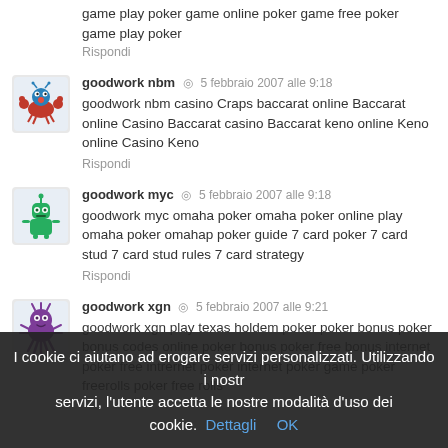game play poker game online poker game free poker game play poker
Rispondi
goodwork nbm · 5 febbraio 2007 alle 9:18
goodwork nbm casino Craps baccarat online Baccarat online Casino Baccarat casino Baccarat keno online Keno online Casino Keno
Rispondi
goodwork myc · 5 febbraio 2007 alle 9:18
goodwork myc omaha poker omaha poker online play omaha poker omahap poker guide 7 card poker 7 card stud 7 card stud rules 7 card strategy
Rispondi
goodwork xgn · 5 febbraio 2007 alle 9:21
goodwork xgn play texas holdem poker poker bonus poker bonus codes online poker bonus poker free bonus internet poker free intrernet poker internet poker game poker freerolls poker free rolls
I cookie ci aiutano ad erogare servizi personalizzati. Utilizzando i nostri servizi, l'utente accetta le nostre modalità d'uso dei cookie. Dettagli OK